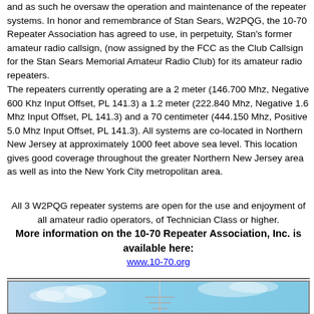and as such he oversaw the operation and maintenance of the repeater systems. In honor and remembrance of Stan Sears, W2PQG, the 10-70 Repeater Association has agreed to use, in perpetuity, Stan's former amateur radio callsign, (now assigned by the FCC as the Club Callsign for the Stan Sears Memorial Amateur Radio Club) for its amateur radio repeaters.
The repeaters currently operating are a 2 meter (146.700 Mhz, Negative 600 Khz Input Offset, PL 141.3) a 1.2 meter (222.840 Mhz, Negative 1.6 Mhz Input Offset, PL 141.3) and a 70 centimeter (444.150 Mhz, Positive 5.0 Mhz Input Offset, PL 141.3). All systems are co-located in Northern New Jersey at approximately 1000 feet above sea level. This location gives good coverage throughout the greater Northern New Jersey area as well as into the New York City metropolitan area.
All 3 W2PQG repeater systems are open for the use and enjoyment of all amateur radio operators, of Technician Class or higher.
More information on the 10-70 Repeater Association, Inc. is available here:
www.10-70.org
[Figure (photo): Photo of an antenna tower with yagi antennas against a blue sky with clouds]